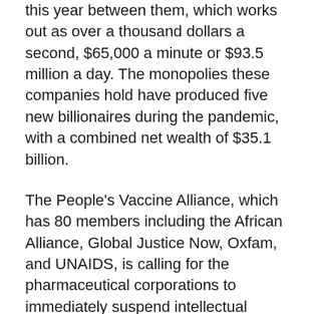Moderna will make pre-tax profits of $9.4 billion this year between them, which works out as over a thousand dollars a second, $65,000 a minute or $93.5 million a day. The monopolies these companies hold have produced five new billionaires during the pandemic, with a combined net wealth of $35.1 billion.
The People's Vaccine Alliance, which has 80 members including the African Alliance, Global Justice Now, Oxfam, and UNAIDS, is calling for the pharmaceutical corporations to immediately suspend intellectual property rights for COVID vaccines, tests, treatments, and other medical tools by agreeing to the proposed waiver of the TRIPS Agreement at the World Trade Organization.
The Alliance is also calling on governments